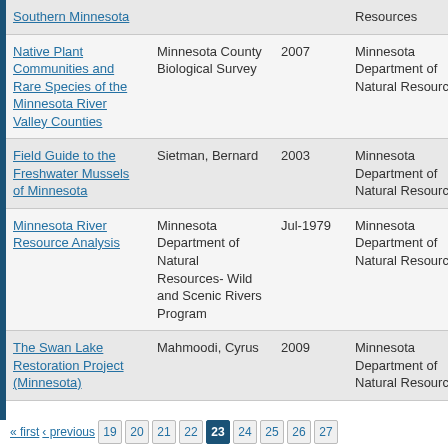| Title | Author | Date | Publisher |  |
| --- | --- | --- | --- | --- |
| Southern Minnesota |  |  | Resources |  |
| Native Plant Communities and Rare Species of the Minnesota River Valley Counties | Minnesota County Biological Survey | 2007 | Minnesota Department of Natural Resources | S M |
| Field Guide to the Freshwater Mussels of Minnesota | Sietman, Bernard | 2003 | Minnesota Department of Natural Resources |  |
| Minnesota River Resource Analysis | Minnesota Department of Natural Resources- Wild and Scenic Rivers Program | Jul-1979 | Minnesota Department of Natural Resources | S M |
| The Swan Lake Restoration Project (Minnesota) | Mahmoodi, Cyrus | 2009 | Minnesota Department of Natural Resources |  |
« first ‹ previous  19  20  21  22  23  24  25  26  27